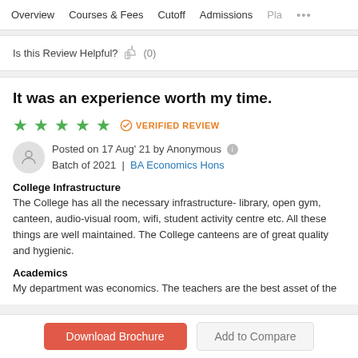Overview   Courses & Fees   Cutoff   Admissions   Pla...
Is this Review Helpful?  (0)
It was an experience worth my time.
★★★★★  VERIFIED REVIEW
Posted on 17 Aug' 21 by Anonymous ℹ
Batch of 2021 | BA Economics Hons
College Infrastructure
The College has all the necessary infrastructure- library, open gym, canteen, audio-visual room, wifi, student activity centre etc. All these things are well maintained. The College canteens are of great quality and hygienic.
Academics
My department was economics. The teachers are the best asset of the
Download Brochure   Add to Compare